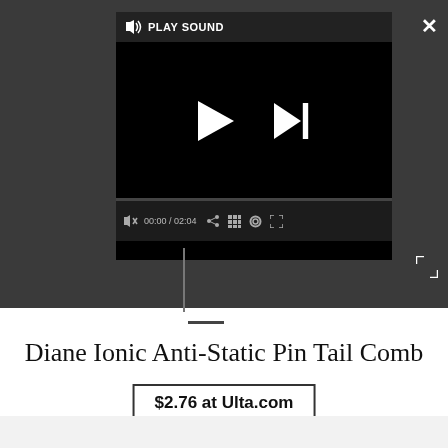[Figure (screenshot): Video player UI with dark background, play sound bar, playback controls (play and skip buttons), progress bar showing 00:00 / 02:04, and media control icons. Close (X) button top right, expand button bottom right.]
Diane Ionic Anti-Static Pin Tail Comb
$2.76 at Ulta.com
[Figure (photo): Advertisement banner showing MAC lipsticks on left (purple, pink, red), MAC logo in center, SHOP NOW button in bordered box on right.]